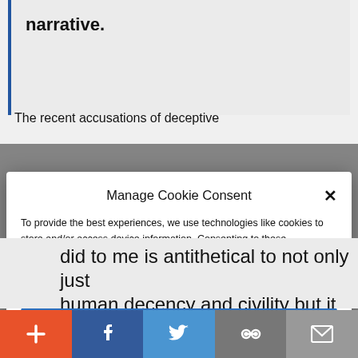narrative.
The recent accusations of deceptive
Manage Cookie Consent
To provide the best experiences, we use technologies like cookies to store and/or access device information. Consenting to these technologies will allow us to process data such as website statistics. Not consenting or withdrawing consent, may adversely affect certain features and functions.
Accept
Cookie Policy   Privacy Policy
did to me is antithetical to not only just human decency and civility but it is
[Figure (screenshot): Social sharing toolbar with five buttons: plus/add (orange), Facebook (dark blue), Twitter (light blue), link/share (gray-blue), email (gray)]